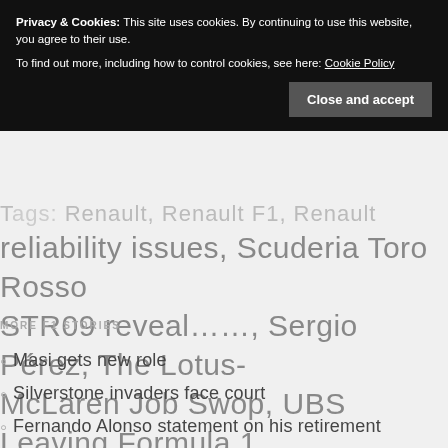Privacy & Cookies: This site uses cookies. By continuing to use this website, you agree to their use. To find out more, including how to control cookies, see here: Cookie Policy
Close and accept
Tags: Renault, Renault F1, Renault reliability issues, Scuderia Toro Rosso STR09 reveal……, Sergio Pérez, The Lotus-McLaren Job Swop, UBS Leaving Formula 1
MORE F1 STORIES
Masi gets new role
Silverstone invaders face court
Fernando Alonso statement on his retirement